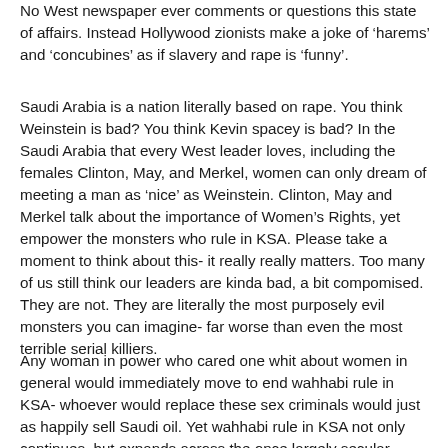No West newspaper ever comments or questions this state of affairs. Instead Hollywood zionists make a joke of 'harems' and 'concubines' as if slavery and rape is 'funny'.
Saudi Arabia is a nation literally based on rape. You think Weinstein is bad? You think Kevin spacey is bad? In the Saudi Arabia that every West leader loves, including the females Clinton, May, and Merkel, women can only dream of meeting a man as 'nice' as Weinstein. Clinton, May and Merkel talk about the importance of Women's Rights, yet empower the monsters who rule in KSA. Please take a moment to think about this- it really really matters. Too many of us still think our leaders are kinda bad, a bit compomised. They are not. They are literally the most purposely evil monsters you can imagine- far worse than even the most terrible serial killiers.
Any woman in power who cared one whit about women in general would immediately move to end wahhabi rule in KSA- whoever would replace these sex criminals would just as happily sell Saudi oil. Yet wahhabi rule in KSA not only continues, but expands across the once largely secular muslim world, like a cancer. And May, and Merkel, and Clinton are witnessed as active supporters